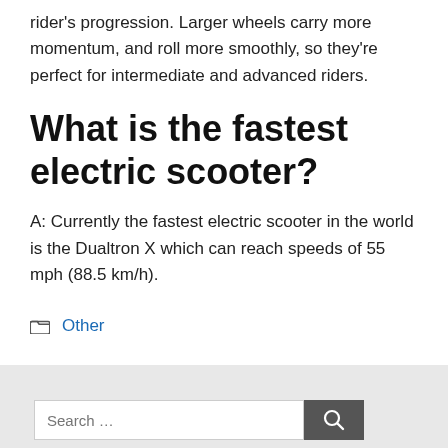rider's progression. Larger wheels carry more momentum, and roll more smoothly, so they're perfect for intermediate and advanced riders.
What is the fastest electric scooter?
A: Currently the fastest electric scooter in the world is the Dualtron X which can reach speeds of 55 mph (88.5 km/h).
Other
Search ...